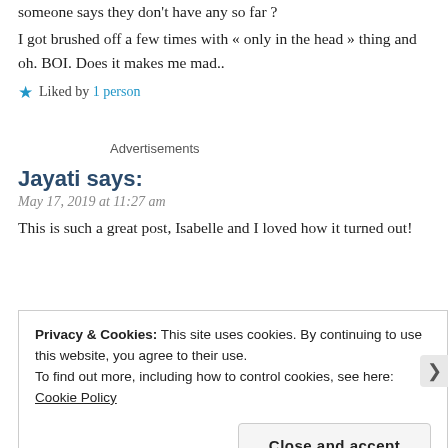someone says they don't have any so far ?
I got brushed off a few times with « only in the head » thing and oh. BOI. Does it makes me mad..
★ Liked by 1 person
Advertisements
Jayati says:
May 17, 2019 at 11:27 am
This is such a great post, Isabelle and I loved how it turned out!
Privacy & Cookies: This site uses cookies. By continuing to use this website, you agree to their use. To find out more, including how to control cookies, see here: Cookie Policy
Close and accept